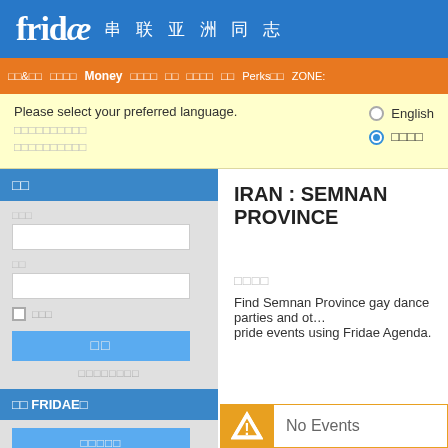fridae 串联亚洲同志
□□&□□  □□□□  Money  □□□□  □□  □□□□  □□  Perks□□  ZONE:
Please select your preferred language.
□□□□□□□□□□
□□□□□□□□□□
English  □□□□
□□
□□□
□□
□ □□□
□□
□□□□□□□□
□□ FRIDAE□
□□□□□
IRAN : SEMNAN PROVINCE
□□□□
Find Semnan Province gay dance parties and other pride events using Fridae Agenda.
No Events